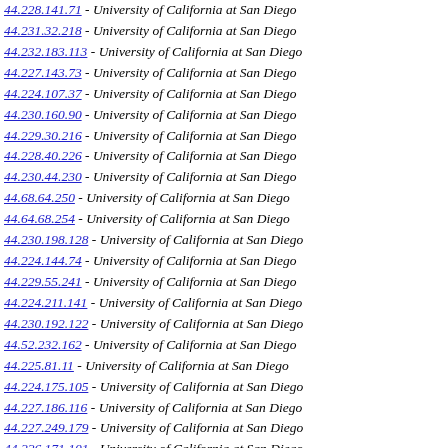44.228.141.71 - University of California at San Diego
44.231.32.218 - University of California at San Diego
44.232.183.113 - University of California at San Diego
44.227.143.73 - University of California at San Diego
44.224.107.37 - University of California at San Diego
44.230.160.90 - University of California at San Diego
44.229.30.216 - University of California at San Diego
44.228.40.226 - University of California at San Diego
44.230.44.230 - University of California at San Diego
44.68.64.250 - University of California at San Diego
44.64.68.254 - University of California at San Diego
44.230.198.128 - University of California at San Diego
44.224.144.74 - University of California at San Diego
44.229.55.241 - University of California at San Diego
44.224.211.141 - University of California at San Diego
44.230.192.122 - University of California at San Diego
44.52.232.162 - University of California at San Diego
44.225.81.11 - University of California at San Diego
44.224.175.105 - University of California at San Diego
44.227.186.116 - University of California at San Diego
44.227.249.179 - University of California at San Diego
44.226.171.101 - University of California at San Diego
44.226.21.207 - University of California at San Diego
44.79.96.26 - University of California at San Diego
44.55.108.38 - University of California at San Diego
76.89.84.14 - Time Warner Cable Internet LLC
44.64.115.45 - University of California at San Diego
44.39.35.221 - University of California at San Diego
44.37.72.2 - University of California at San Diego
44.77.145.75 - University of California at San Diego
44.149.146.76 - University of California at San Diego